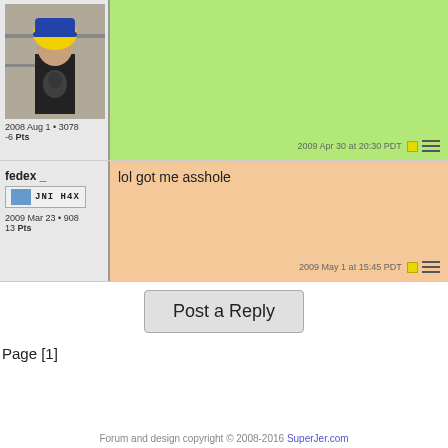[Figure (photo): User avatar photo of person with yellow wig in a store]
2008 Aug 1 • 3078
-6 Pts
(green background post, blank content)
2009 Apr 30 at 20:30 PDT
fedex _
[Figure (screenshot): User badge/icon: computer icon with text JNI H4X]
2009 Mar 23 • 908
13 Pts
lol got me asshole
2009 May 1 at 15:45 PDT
Post a Reply
Page [1]
Forum and design copyright © 2008-2016 SuperJer.com